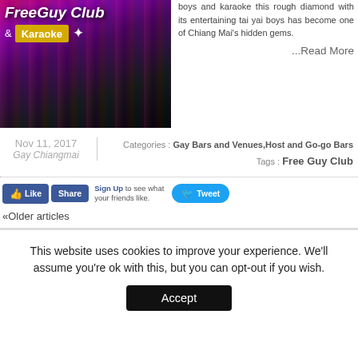[Figure (photo): FreeGuy Club & Karaoke promotional image with colorful neon background and stylized text]
boys and karaoke this rough diamond with its entertaining tai yai boys has become one of Chiang Mai's hidden gems.
...Read More
Nov 11, 2017
Gay Chiangmai
Categories : Gay Bars and Venues,Host and Go-go Bars
Tags : Free Guy Club
[Figure (screenshot): Social media buttons: Like, Share (Facebook), Sign Up text, Tweet (Twitter)]
«Older articles
This website uses cookies to improve your experience. We'll assume you're ok with this, but you can opt-out if you wish.
Accept